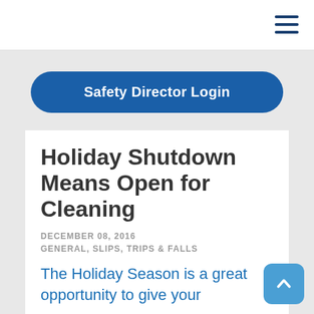Safety Director Login
Holiday Shutdown Means Open for Cleaning
DECEMBER 08, 2016
GENERAL, SLIPS, TRIPS & FALLS
The Holiday Season is a great opportunity to give your